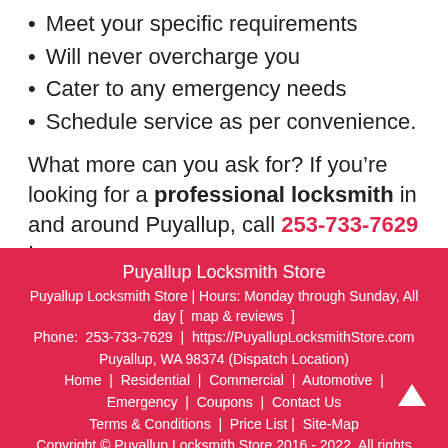Meet your specific requirements
Will never overcharge you
Cater to any emergency needs
Schedule service as per convenience.
What more can you ask for? If you’re looking for a professional locksmith in and around Puyallup, call 253-733-7629 !
Puyallup Locksmith Store | Puyallup Locksmith Store | Hours: Monday through Sunday, All day [ map & reviews ] | Phone: 253-733-7629 | https://PuyallupLocksmithStore.com | Puyallup, WA 98374 (Dispatch Location) | Home | Residential | Commercial | Automotive | Emergency | Coupons | Contact Us | Terms & Conditions | Price List | Site-Map | Copyright © Puyallup Locksmith Store 2016 - 2022. All rights